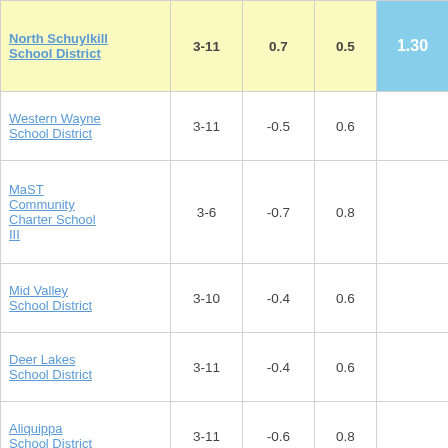| School District | Grades | Col3 | Col4 | Score |
| --- | --- | --- | --- | --- |
| North Schuylkill School District | 3-11 | 0.7 | 0.5 | 1.30 |
| Western Wayne School District | 3-11 | -0.5 | 0.6 | -0.81 |
| MaST Community Charter School III | 3-6 | -0.7 | 0.8 | -0.81 |
| Mid Valley School District | 3-10 | -0.4 | 0.6 | -0.79 |
| Deer Lakes School District | 3-11 | -0.4 | 0.6 | -0.76 |
| Aliquippa School District | 3-11 | -0.6 | 0.8 | -0.74 |
| Titusville Area School District | 3-11 | -0.4 | 0.5 | -0.72 |
| Vision Academy | 3-8 | -0.9 | 1.2 | -0.72 |